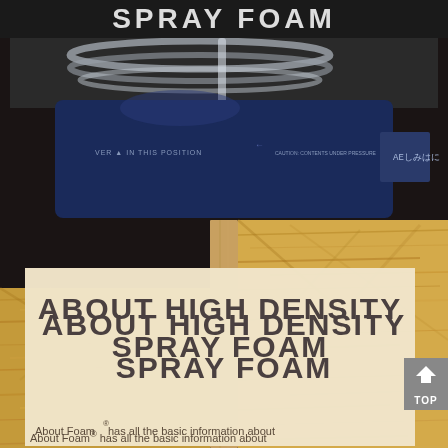SPRAY FOAM
[Figure (photo): Photograph showing a dark navy blue spray foam canister/tank with hoses on top, and below it OSB (oriented strand board) wood panels with a wooden stud divider visible between left and right panels. The wood textures show the characteristic chip pattern of OSB sheathing.]
ABOUT HIGH DENSITY SPRAY FOAM
About Foam® has all the basic information about...